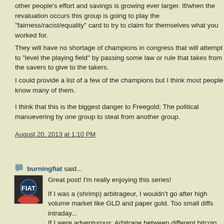other people's effort and savings is growing ever larger. If/when the revaluation occurs this group is going to play the "fairness/racist/equality" card to try to claim for themselves what you worked for.
They will have no shortage of champions in congress that will attempt to "level the playing field" by passing some law or rule that takes from the savers to give to the takers.
I could provide a list of a few of the champions but I think most people know many of them.
I think that this is the biggest danger to Freegold; The political manuevering by one group to steal from another group.
August 20, 2013 at 1:10 PM
burningfiat said...
Great post! I'm really enjoying this series!
If I was a (shrimp) arbitrageur, I wouldn't go after high volume market like GLD and paper gold. Too small diffs intraday...
If I were adventurous: Arbitrage between different bitcoin exchanges. They seem to deviate a lot at times... Although I imagine, if I entered BTC bourses with guns blazing and many